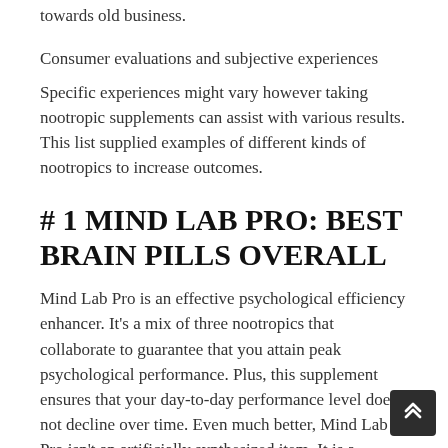towards old business.
Consumer evaluations and subjective experiences
Specific experiences might vary however taking nootropic supplements can assist with various results. This list supplied examples of different kinds of nootropics to increase outcomes.
# 1 MIND LAB PRO: BEST BRAIN PILLS OVERALL
Mind Lab Pro is an effective psychological efficiency enhancer. It's a mix of three nootropics that collaborate to guarantee that you attain peak psychological performance. Plus, this supplement ensures that your day-to-day performance level does not decline over time. Even much better, Mind Lab Pro isn't an artificially synthesized item. It is a